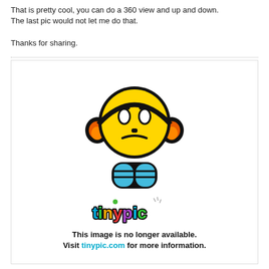That is pretty cool, you can do a 360 view and up and down.
The last pic would not let me do that.

Thanks for sharing.
[Figure (illustration): Tinypic placeholder image showing a sad yellow emoji mascot with headphones and blue body, with 'tinypic' logo and the text 'This image is no longer available. Visit tinypic.com for more information.']